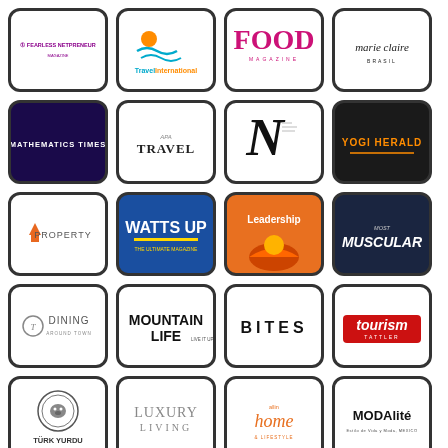[Figure (logo): Fearless Netpreneur magazine logo - purple text on white]
[Figure (logo): Travel International logo with sun and waves]
[Figure (logo): FOOD magazine logo in pink/magenta]
[Figure (logo): marie claire magazine logo in black]
[Figure (logo): Mathematics Times logo white text on dark purple]
[Figure (logo): APA Travel magazine logo]
[Figure (logo): N magazine logo black italic N on white]
[Figure (logo): Yogi Herald logo orange text on black]
[Figure (logo): Property magazine logo]
[Figure (logo): Watts Up magazine logo white text on blue]
[Figure (logo): Leadership magazine logo on orange with sunset]
[Figure (logo): Most Muscular magazine logo on dark navy]
[Figure (logo): T Dining magazine logo]
[Figure (logo): Mountain Life magazine logo]
[Figure (logo): BITES magazine logo]
[Figure (logo): Tourism Tattler magazine logo red and white]
[Figure (logo): Turk Yurdu magazine logo with bear emblem]
[Figure (logo): Luxury Living magazine logo]
[Figure (logo): allin home magazine logo orange]
[Figure (logo): MODALite Mexico magazine logo]